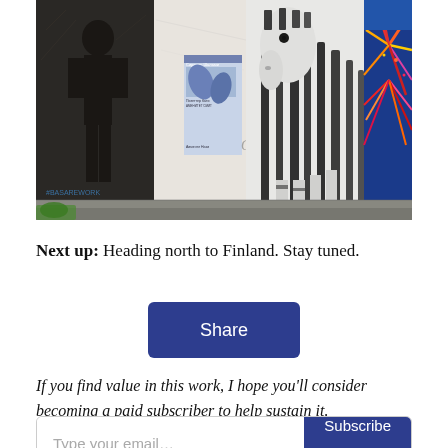[Figure (photo): Street art mural showing multiple panels: a figure in dark clothing on the left, a large zebra in black and white in the center-right, blue leafy posters in the middle, and colorful fireworks/abstract art on the far right. Urban wall art photographed at street level.]
Next up: Heading north to Finland. Stay tuned.
[Figure (other): Share button — a dark navy blue rectangular button with rounded corners containing the text 'Share' in white.]
If you find value in this work, I hope you'll consider becoming a paid subscriber to help sustain it.
[Figure (other): Email subscription bar with 'Type your email...' placeholder on the left and a dark navy 'Subscribe' button on the right.]